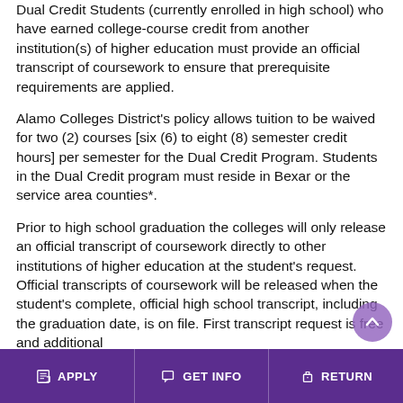Dual Credit Students (currently enrolled in high school) who have earned college-course credit from another institution(s) of higher education must provide an official transcript of coursework to ensure that prerequisite requirements are applied.
Alamo Colleges District's policy allows tuition to be waived for two (2) courses [six (6) to eight (8) semester credit hours] per semester for the Dual Credit Program. Students in the Dual Credit program must reside in Bexar or the service area counties*.
Prior to high school graduation the colleges will only release an official transcript of coursework directly to other institutions of higher education at the student's request. Official transcripts of coursework will be released when the student's complete, official high school transcript, including the graduation date, is on file. First transcript request is free and additional
APPLY   GET INFO   RETURN